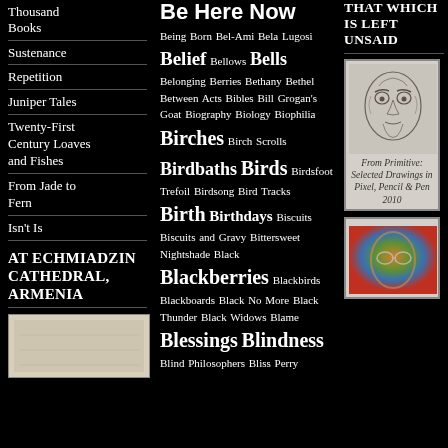Thousand Books
Sustenance
Repetition
Juniper Tales
Twenty-First Century Loaves and Fishes
From Jade to Fern
Isn't Is
AT ECHMIADZIN CATHEDRAL, ARMENIA
[Figure (photo): Small photograph, partially visible at bottom of left column]
Being Born Bel-Ami Bela Lugosi Belief Bellows Bells Belonging Berries Bethany Bethel Between Acts Bibles Bill Grogan's Goat Biography Biology Biophilia Birches Birch Scrolls Birdbaths Birds Birdsfoot Trefoil Birdsong Bird Tracks Birth Birthdays Biscuits Biscuits and Gravy Bittersweet Nightshade Black Blackberries Blackbirds Blackboards Black No More Black Thunder Black Widows Blame Blessings Blindness Blind Philosophers Bliss Perry
Be Here Now
THAT WHICH IS LEFT UNSAID
[Figure (illustration): Pencil sketch portrait of an elderly man's face]
From Primitive: Selected Drawings in Pixel, Pencil & Pen 2010
[Figure (photo): Color portrait image partially visible at bottom right, showing a face with orange/green/blue tones]